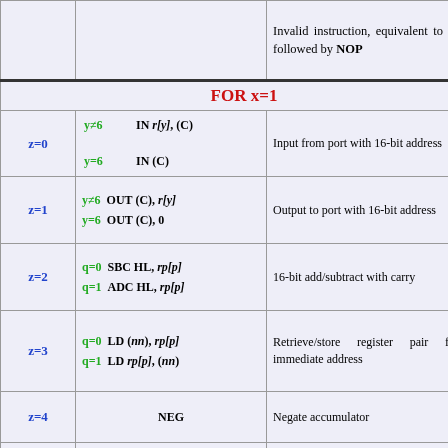|  | Condition/Instruction | Description |
| --- | --- | --- |
|  |  | Invalid instruction, equivalent to NONI followed by NOP |
| FOR x=1 |  |  |
| z=0 | y≠6: IN r[y], (C) / y=6: IN (C) | Input from port with 16-bit address |
| z=1 | y≠6: OUT (C), r[y] / y=6: OUT (C), 0 | Output to port with 16-bit address |
| z=2 | q=0: SBC HL, rp[p] / q=1: ADC HL, rp[p] | 16-bit add/subtract with carry |
| z=3 | q=0: LD (nn), rp[p] / q=1: LD rp[p], (nn) | Retrieve/store register pair from/to immediate address |
| z=4 | NEG | Negate accumulator |
| z=5 | y≠1: RETN / y=1: RETI | Return from interrupt |